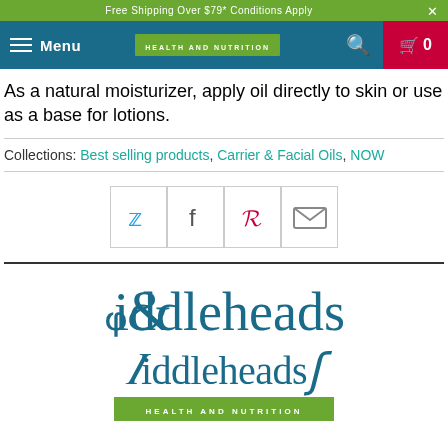Free Shipping Over $79* Conditions Apply
Menu | HEALTH AND NUTRITION | 0
As a natural moisturizer, apply oil directly to skin or use as a base for lotions.
Collections: Best selling products, Carrier & Facial Oils, NOW
[Figure (infographic): Social share buttons: Twitter, Facebook, Pinterest, Email]
[Figure (logo): Fiddleheads Health and Nutrition logo with green bar subtitle]